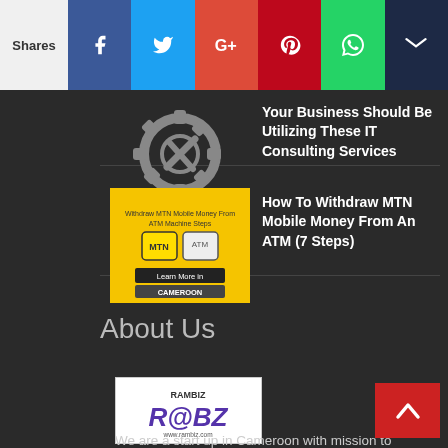Shares | Facebook | Twitter | Google+ | Pinterest | WhatsApp | Crown
[Figure (illustration): Gear/settings icon with wrench and screwdriver, dark background]
Your Business Should Be Utilizing These IT Consulting Services
[Figure (photo): Yellow thumbnail for MTN Mobile Money ATM withdrawal article, Cameroon]
How To Withdraw MTN Mobile Money From An ATM (7 Steps)
About Us
[Figure (logo): R@BZ logo - website logo for Cameroon startup]
We are a start up in Cameroon with mission to